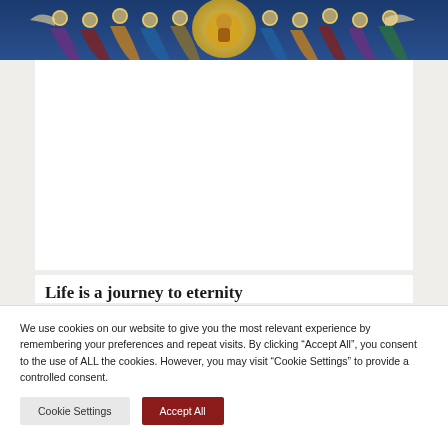[Figure (illustration): Religious fresco or mosaic painting depicting figures in robes, halos, angels, and a central figure in a mandorla, Byzantine or medieval style, colorful blue and gold tones]
Life is a journey to eternity
We use cookies on our website to give you the most relevant experience by remembering your preferences and repeat visits. By clicking “Accept All”, you consent to the use of ALL the cookies. However, you may visit "Cookie Settings" to provide a controlled consent.
Cookie Settings
Accept All